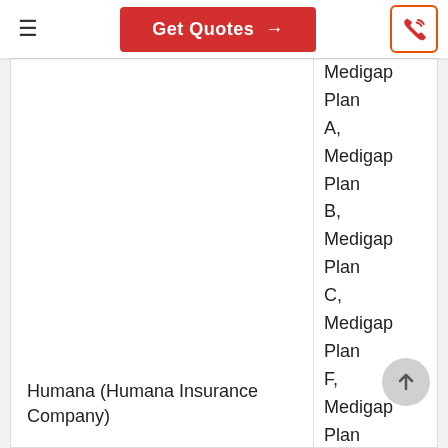Get Quotes →
| Company | Plans |
| --- | --- |
| Humana (Humana Insurance Company) | Medigap Plan A, Medigap Plan B, Medigap Plan C, Medigap Plan F, Medigap Plan F-high deductible, Medigap Plan G, Medigap Plan G-high deductible, Medigap Plan K, Medigap Plan ... |